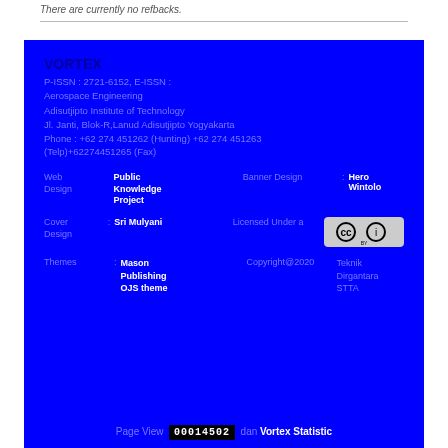There are currently no refbacks.
VORTEX
P-ISSN : 2721-6152, E-ISSN :
Aerospace Engineering
Adisutjipto Institute of Technology
Jl. Janti, Blok-R,Lanud Adisutjipto Yogyakarta
Phone : +62 274 451262 (Hunting) +62 274 451263 (Telp)+62274451265 (Fax)
Web Design : Public Knowledge Project   Banner Design : Hero Wintolo
Cover Design : Sri Mulyani   Licensed Under a [CC BY]
Themes : Mason Publishing OJS theme   Copyright@2020   Teknik Dirgantara STTA
Page View 00014502 dan Vortex Statistic